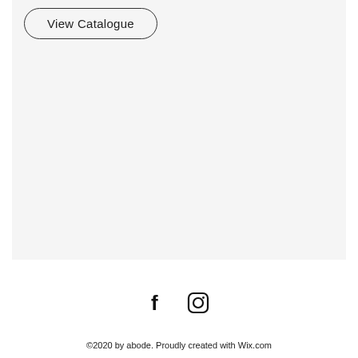View Catalogue
[Figure (illustration): Facebook and Instagram social media icons in black]
©2020 by abode. Proudly created with Wix.com